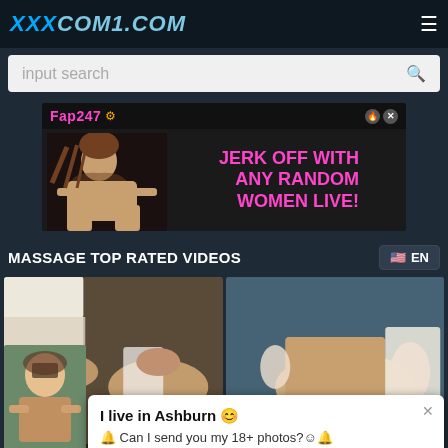XXXCOM1.COM
input search
[Figure (screenshot): Advertisement banner for Fap247 with text JERK OFF WITH ANY RANDOM WOMEN LIVE!]
MASSAGE TOP RATED VIDEOS
[Figure (screenshot): Two video thumbnails showing massage scenes]
I live in Ashburn 😊 🔔 Can I send you my 18+ photos?☺️🔔
massage
massage